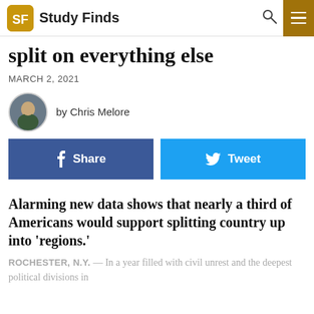Study Finds
split on everything else
MARCH 2, 2021
by Chris Melore
[Figure (other): Facebook Share button and Twitter Tweet button]
Alarming new data shows that nearly a third of Americans would support splitting country up into ‘regions.’
ROCHESTER, N.Y. — In a year filled with civil unrest and the deepest political divisions in